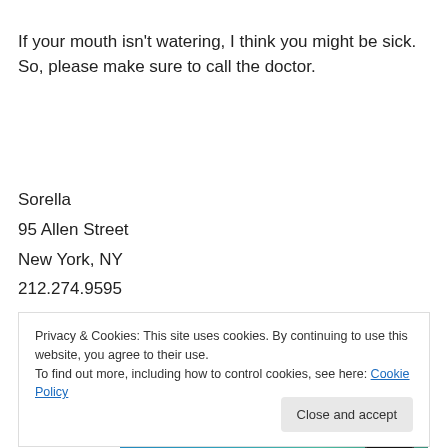If your mouth isn't watering, I think you might be sick.  So, please make sure to call the doctor.
Sorella
95 Allen Street
New York, NY
212.274.9595
Advertisements
[Figure (screenshot): WordPress advertisement banner with blue/teal gradient background, WordPress logo on left and partial phone image on right]
Privacy & Cookies: This site uses cookies. By continuing to use this website, you agree to their use.
To find out more, including how to control cookies, see here: Cookie Policy
Close and accept